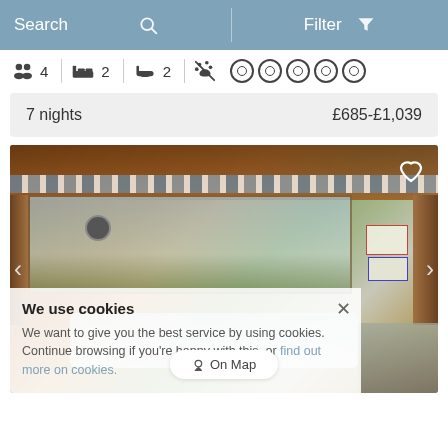Search   Filter
4  2  2  [no pets]  ○○○○○
7 nights   £685-£1,039
[Figure (photo): Interior of a wooden log cabin with panoramic windows, bunting flags, a clock on the wall, hot tub visible in the foreground, scenic countryside view outside. Signs on wall. Cookie consent overlay partially covering the image.]
We use cookies
We want to give you the best service by using cookies. Continue browsing if you're happy with this, or find out more on cookies.
On Map